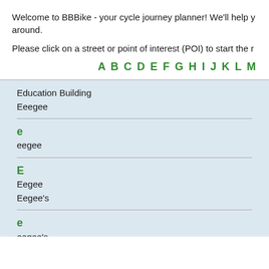Welcome to BBBike - your cycle journey planner! We'll help y around.
Please click on a street or point of interest (POI) to start the r
A B C D E F G H I J K L M
Education Building
Eeegee
e
eegee
E
Eegee
Eegee's
e
eegee's
E
Eegee's
Eegee's
Eegee's